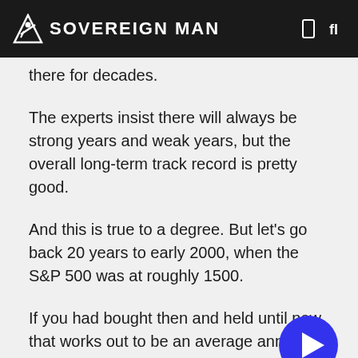SOVEREIGN MAN
there for decades.
The experts insist there will always be strong years and weak years, but the overall long-term track record is pretty good.
And this is true to a degree. But let's go back 20 years to early 2000, when the S&P 500 was at roughly 1500.
[Figure (other): Blue circular play button icon overlaid on text]
If you had bought then and held until now, that works out to be an average annual return of just 4%.